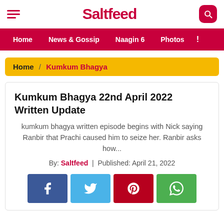Saltfeed
Home  /  Kumkum Bhagya
Kumkum Bhagya 22nd April 2022 Written Update
kumkum bhagya written episode begins with Nick saying Ranbir that Prachi caused him to seize her. Ranbir asks how...
By: Saltfeed  |  Published: April 21, 2022
[Figure (infographic): Social share buttons: Facebook (blue), Twitter (light blue), Pinterest (dark red), WhatsApp (green)]